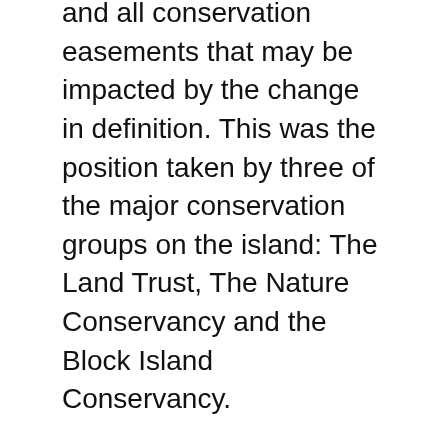and all conservation easements that may be impacted by the change in definition. This was the position taken by three of the major conservation groups on the island: The Land Trust, The Nature Conservancy and the Block Island Conservancy.
The issue is whether or not conservation and open space easements should be considered in the calculation of developable land within the town's subdivision regulations. Due to changes in the regulations at the state level that counted wetlands as part of developable lands, the town needed to change its own regulations. Last January, the Town Council approved amending the town's zoning ordinances to reflect that change, and also included open space easements into the mix. As a result, however, the